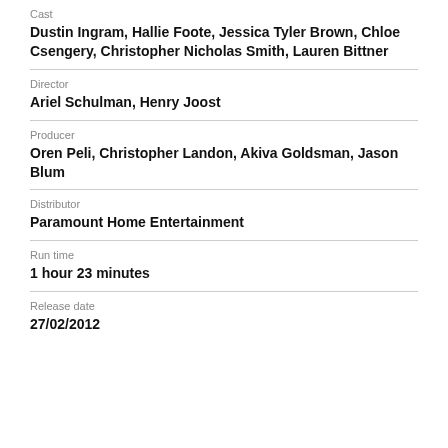Cast
Dustin Ingram, Hallie Foote, Jessica Tyler Brown, Chloe Csengery, Christopher Nicholas Smith, Lauren Bittner
Director
Ariel Schulman, Henry Joost
Producer
Oren Peli, Christopher Landon, Akiva Goldsman, Jason Blum
Distributor
Paramount Home Entertainment
Run time
1 hour 23 minutes
Release date
27/02/2012